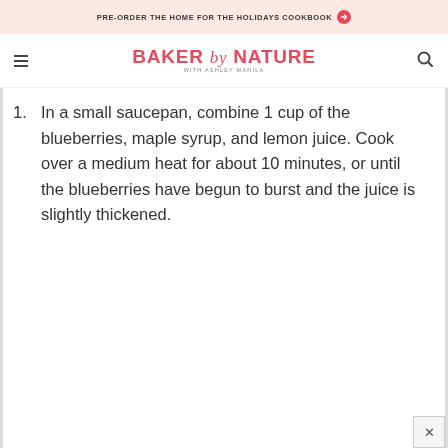PRE-ORDER THE HOME FOR THE HOLIDAYS COOKBOOK
[Figure (logo): Baker by Nature with Ashley Manila logo in pink/coral color with hamburger menu and search icon]
1. In a small saucepan, combine 1 cup of the blueberries, maple syrup, and lemon juice. Cook over a medium heat for about 10 minutes, or until the blueberries have begun to burst and the juice is slightly thickened.